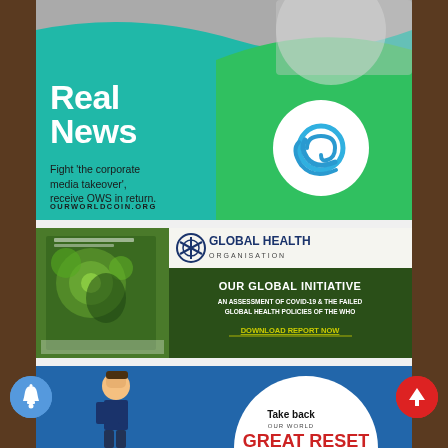[Figure (illustration): Advertisement banner for OurWorldCoin.org with teal/green gradient background, image of a reporter with microphone, large white text 'Real News', tagline 'Fight the corporate media takeover, receive OWS in return.', URL 'OURWORLDCOIN.ORG', and circular OWS logo]
[Figure (illustration): Advertisement banner for Global Health Organisation featuring green background, book cover image on left, asterisk logo, text 'GLOBAL HEALTH ORGANISATION', 'OUR GLOBAL INITIATIVE', 'AN ASSESSMENT OF COVID-19 & THE FAILED GLOBAL HEALTH POLICIES OF THE WHO', and yellow 'DOWNLOAD REPORT NOW' link]
[Figure (illustration): Partial advertisement banner for 'Take back OUR WORLD / GREAT RESET' with blue background, cartoon figure, and white circle containing text]
[Figure (other): Blue circular notification bell button floating on left]
[Figure (other): Red circular upward arrow button floating on right]